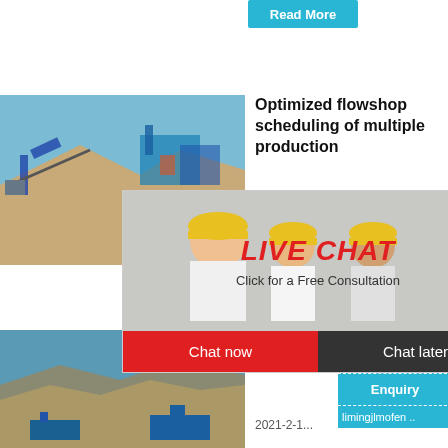Read More
[Figure (photo): Quarry site with crushing/screening equipment machinery, sand piles in background, blue sky]
Optimized flowshop scheduling of multiple production
[Figure (screenshot): Live chat popup overlay showing workers in yellow hard hats, with LIVE CHAT heading in red italic, subtitle 'Click for a Free Consultation', Chat now (red) and Chat later (dark) buttons]
[Figure (photo): Right sidebar showing hour online text, cone crusher machine image, Click me to chat>> button, Enquiry section, and limingjlmofen username]
[Figure (photo): Quarry excavation site with blue machinery and excavated terrain]
Produc... Batch, continu...
2021-2-1...